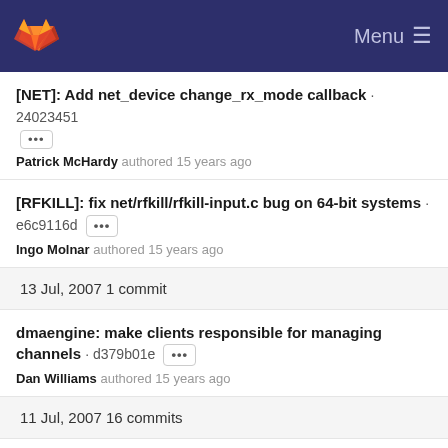GitLab Menu
[NET]: Add net_device change_rx_mode callback · 24023451
Patrick McHardy authored 15 years ago
[RFKILL]: fix net/rfkill/rfkill-input.c bug on 64-bit systems · e6c9116d
Ingo Molnar authored 15 years ago
13 Jul, 2007 1 commit
dmaengine: make clients responsible for managing channels · d379b01e
Dan Williams authored 15 years ago
11 Jul, 2007 16 commits
[NET_SCHED]: ematch: module autoloading · db3d99c0
Patrick McHardy authored 15 years ago
[TCP]: tcp probe wraparound handling and other changes ·